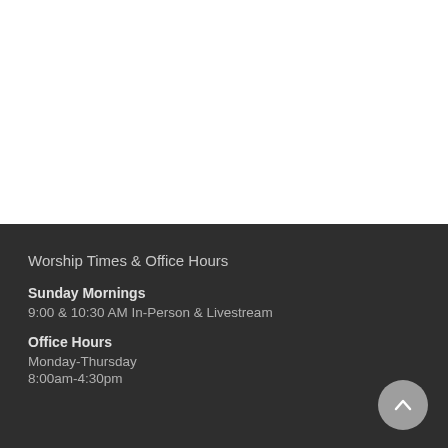Worship Times & Office Hours
Sunday Mornings
9:00 & 10:30 AM In-Person & Livestream
Office Hours
Monday-Thursday
8:00am-4:30pm